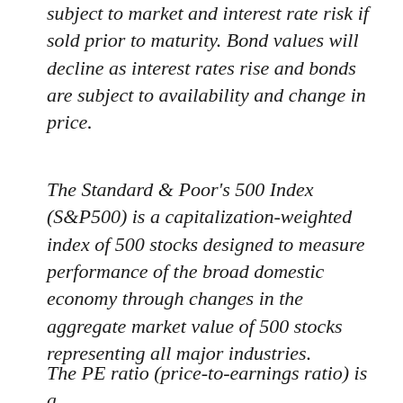subject to market and interest rate risk if sold prior to maturity. Bond values will decline as interest rates rise and bonds are subject to availability and change in price.
The Standard & Poor's 500 Index (S&P500) is a capitalization-weighted index of 500 stocks designed to measure performance of the broad domestic economy through changes in the aggregate market value of 500 stocks representing all major industries.
The PE ratio (price-to-earnings ratio) is a